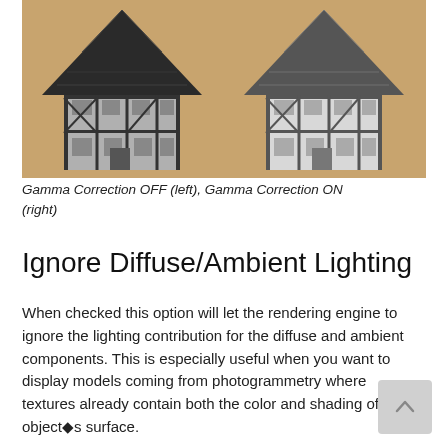[Figure (photo): Two side-by-side grayscale photos of a model house (Tudor/half-timbered style) on a tan/orange background. Left image shows Gamma Correction OFF, right image shows Gamma Correction ON. The right image appears slightly brighter/lighter.]
Gamma Correction OFF (left), Gamma Correction ON (right)
Ignore Diffuse/Ambient Lighting
When checked this option will let the rendering engine to ignore the lighting contribution for the diffuse and ambient components. This is especially useful when you want to display models coming from photogrammetry where textures already contain both the color and shading of the object◆s surface.